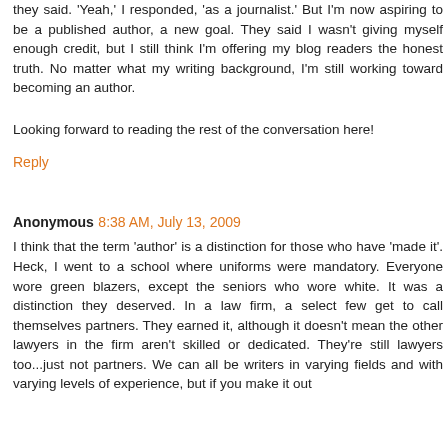they said. 'Yeah,' I responded, 'as a journalist.' But I'm now aspiring to be a published author, a new goal. They said I wasn't giving myself enough credit, but I still think I'm offering my blog readers the honest truth. No matter what my writing background, I'm still working toward becoming an author.
Looking forward to reading the rest of the conversation here!
Reply
Anonymous 8:38 AM, July 13, 2009
I think that the term 'author' is a distinction for those who have 'made it'. Heck, I went to a school where uniforms were mandatory. Everyone wore green blazers, except the seniors who wore white. It was a distinction they deserved. In a law firm, a select few get to call themselves partners. They earned it, although it doesn't mean the other lawyers in the firm aren't skilled or dedicated. They're still lawyers too...just not partners. We can all be writers in varying fields and with varying levels of experience, but if you make it out